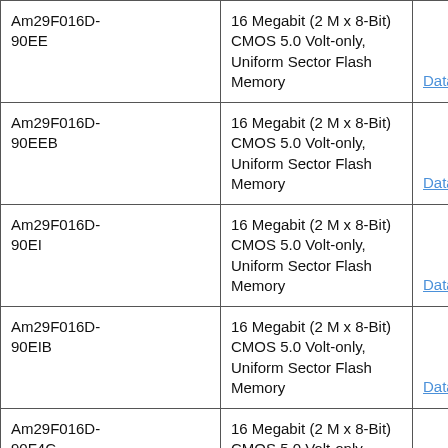| Part Number | Description | Link |
| --- | --- | --- |
| Am29F016D-90EE | 16 Megabit (2 M x 8-Bit) CMOS 5.0 Volt-only, Uniform Sector Flash Memory | Datasheet |
| Am29F016D-90EEB | 16 Megabit (2 M x 8-Bit) CMOS 5.0 Volt-only, Uniform Sector Flash Memory | Datasheet |
| Am29F016D-90EI | 16 Megabit (2 M x 8-Bit) CMOS 5.0 Volt-only, Uniform Sector Flash Memory | Datasheet |
| Am29F016D-90EIB | 16 Megabit (2 M x 8-Bit) CMOS 5.0 Volt-only, Uniform Sector Flash Memory | Datasheet |
| Am29F016D-90F4C | 16 Megabit (2 M x 8-Bit) CMOS 5.0 Volt-only, | Datasheet |